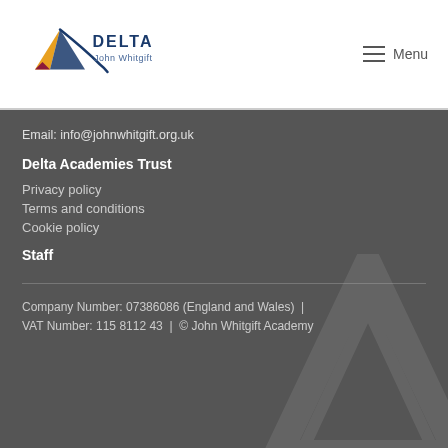[Figure (logo): Delta John Whitgift logo with geometric triangle shape in blue, yellow, and red, with text DELTA and John Whitgift]
≡  Menu
Email: info@johnwhitgift.org.uk
Delta Academies Trust
Privacy policy
Terms and conditions
Cookie policy
Staff
Company Number: 07386086 (England and Wales)  |  VAT Number: 115 8112 43  |  © John Whitgift Academy